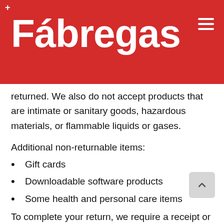[Figure (logo): Fábregas logo on red background header with hamburger menu icon and plus mark]
returned. We also do not accept products that are intimate or sanitary goods, hazardous materials, or flammable liquids or gases.
Additional non-returnable items:
Gift cards
Downloadable software products
Some health and personal care items
To complete your return, we require a receipt or